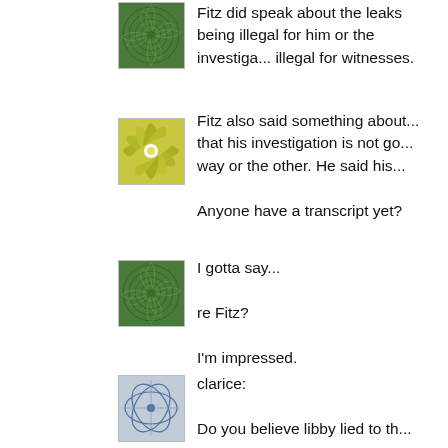[Figure (illustration): Green swirl spiral avatar image]
Fitz did speak about the leaks being illegal for him or the investiga... illegal for witnesses.
[Figure (illustration): Yellow-green flower/star pattern avatar image]
Fitz also said something about... that his investigation is not go... way or the other. He said his...

Anyone have a transcript yet?
[Figure (illustration): Green swirl spiral avatar image]
I gotta say...

re Fitz?

I'm impressed.
[Figure (illustration): Blue geometric pattern avatar image]
clarice:

Do you believe libby lied to th...